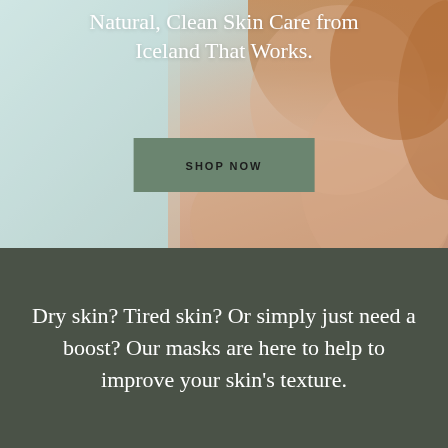[Figure (photo): Portrait photo of a red-haired woman with freckles touching her face, on a light blue-gray background. A muted sage green 'SHOP NOW' button is overlaid in the center.]
Natural, Clean Skin Care from Iceland That Works.
SHOP NOW
Dry skin? Tired skin? Or simply just need a boost? Our masks are here to help to improve your skin's texture.